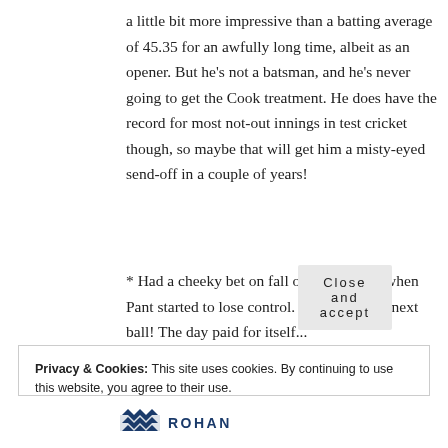a little bit more impressive than a batting average of 45.35 for an awfully long time, albeit as an opener. But he's not a batsman, and he's never going to get the Cook treatment. He does have the record for most not-out innings in test cricket though, so maybe that will get him a misty-eyed send-off in a couple of years!
* Had a cheeky bet on fall of next wicket when Pant started to lose control. Rahul was out next ball! The day paid for itself...
Privacy & Cookies: This site uses cookies. By continuing to use this website, you agree to their use.
To find out more, including how to control cookies, see here: Cookie Policy
Close and accept
ROHAN